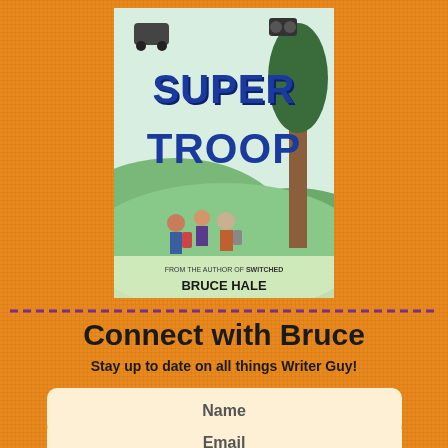[Figure (illustration): Book cover for 'Super Troop' by Bruce Hale, showing large blue distressed text 'SUPER TROOP' on a light blue background with illustrated children hiking outdoors, and text 'FROM THE AUTHOR OF SWITCHED BRUCE HALE' at the bottom.]
Connect with Bruce
Stay up to date on all things Writer Guy!
Name
Email